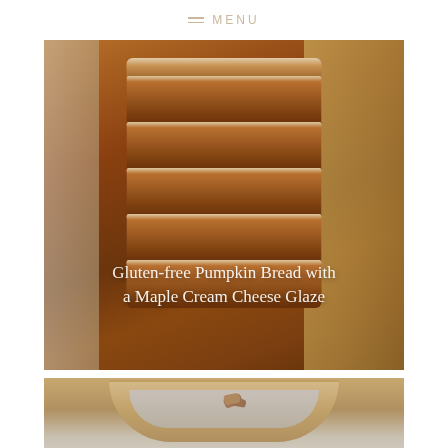MENU
[Figure (photo): Stacked slices of gluten-free pumpkin bread with maple cream cheese glaze on a wooden cutting board, with white text overlay showing the recipe title]
Gluten-free Pumpkin Bread with a Maple Cream Cheese Glaze
[Figure (photo): A baking dish with cream cheese glaze mixture, partially visible at the bottom of the page]